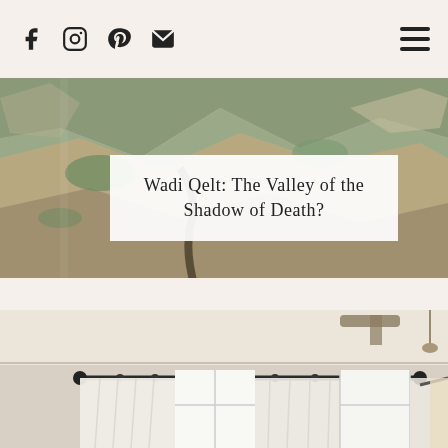Social icons: Facebook, Instagram, Pinterest, Email, Menu
[Figure (photo): Aerial or canyon landscape photo showing rocky desert terrain with a winding path/road through Wadi Qelt]
Wadi Qelt: The Valley of the Shadow of Death?
[Figure (photo): Interior room photo showing white sheer curtains hanging on a long black curtain rod across large windows, with ceiling fan and pendant light visible]